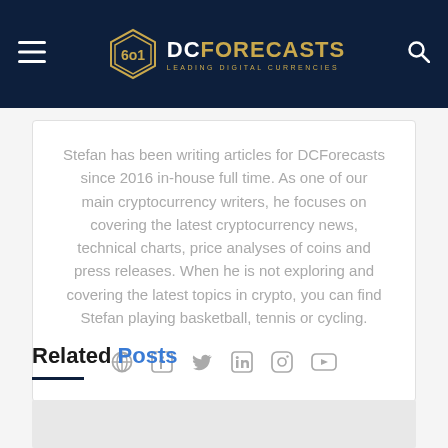DC FORECASTS — LEADING DIGITAL CURRENCIES
Stefan has been writing articles for DCForecasts since 2016 in-house full time. As one of our main cryptocurrency writers, he focuses on covering the latest cryptocurrency news, technical charts, price analyses of coins and press releases. When he is not exploring and covering the latest topics in crypto, you can find Stefan playing basketball, tennis or cycling.
[Figure (infographic): Social media icons: globe, Facebook, Twitter, LinkedIn, Instagram, YouTube]
Related Posts